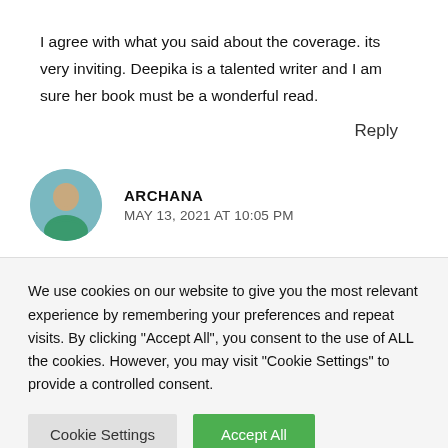I agree with what you said about the coverage. its very inviting. Deepika is a talented writer and I am sure her book must be a wonderful read.
Reply
ARCHANA
MAY 13, 2021 AT 10:05 PM
We use cookies on our website to give you the most relevant experience by remembering your preferences and repeat visits. By clicking “Accept All”, you consent to the use of ALL the cookies. However, you may visit "Cookie Settings" to provide a controlled consent.
Cookie Settings
Accept All